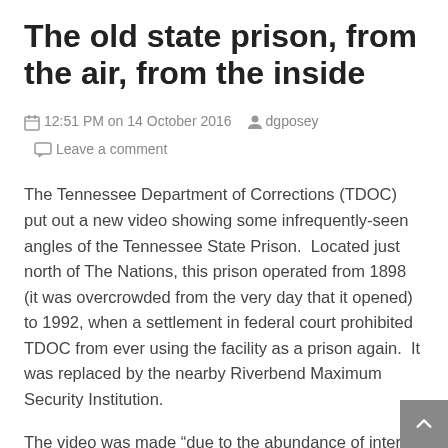The old state prison, from the air, from the inside
12:51 PM on 14 October 2016  dgposey  Leave a comment
The Tennessee Department of Corrections (TDOC) put out a new video showing some infrequently-seen angles of the Tennessee State Prison.  Located just north of The Nations, this prison operated from 1898 (it was overcrowded from the very day that it opened) to 1992, when a settlement in federal court prohibited TDOC from ever using the facility as a prison again.  It was replaced by the nearby Riverbend Maximum Security Institution.
The video was made “due to the abundance of interest in this property,” TDOC wrote in the video’s description.  “This film was done… in partnership with Those